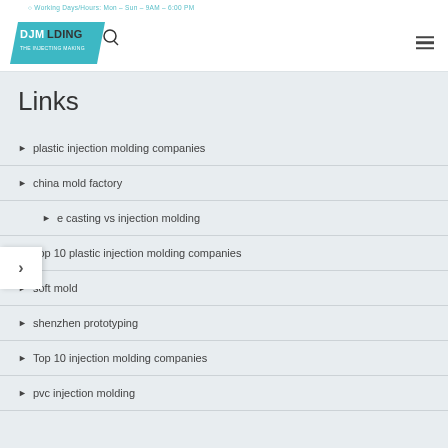Working Days/Hours: Mon – Sun – 9AM – 6:00 PM
[Figure (logo): DJMolding company logo with teal parallelogram background and search icon]
Links
plastic injection molding companies
china mold factory
e casting vs injection molding
Top 10 plastic injection molding companies
soft mold
shenzhen prototyping
Top 10 injection molding companies
pvc injection molding